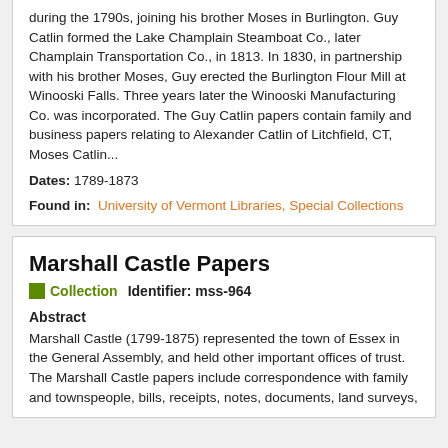during the 1790s, joining his brother Moses in Burlington. Guy Catlin formed the Lake Champlain Steamboat Co., later Champlain Transportation Co., in 1813. In 1830, in partnership with his brother Moses, Guy erected the Burlington Flour Mill at Winooski Falls. Three years later the Winooski Manufacturing Co. was incorporated. The Guy Catlin papers contain family and business papers relating to Alexander Catlin of Litchfield, CT, Moses Catlin...
Dates: 1789-1873
Found in: University of Vermont Libraries, Special Collections
Marshall Castle Papers
Collection   Identifier: mss-964
Abstract
Marshall Castle (1799-1875) represented the town of Essex in the General Assembly, and held other important offices of trust. The Marshall Castle papers include correspondence with family and townspeople, bills, receipts, notes, documents, land surveys,